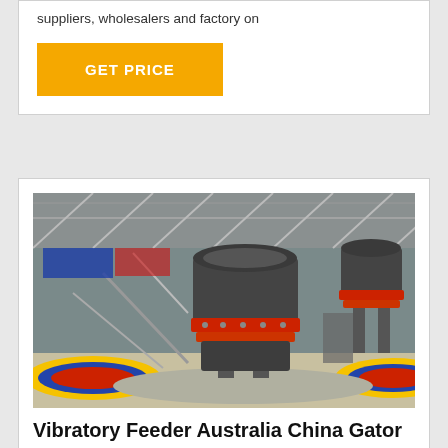suppliers, wholesalers and factory on
GET PRICE
[Figure (photo): Industrial cone crushers on a factory floor, showing two large metal cone crusher machines with red accent rings, surrounded by crushed stone, inside a large industrial warehouse.]
Vibratory Feeder Australia China Gator